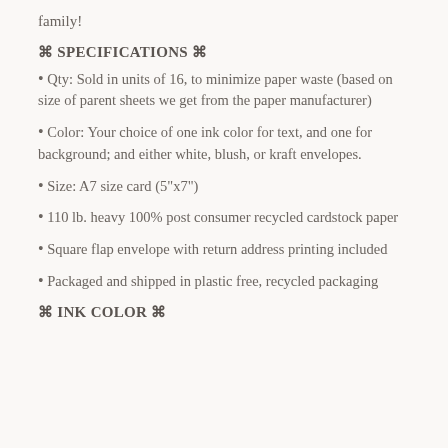family!
⌘ SPECIFICATIONS ⌘
Qty: Sold in units of 16, to minimize paper waste (based on size of parent sheets we get from the paper manufacturer)
Color: Your choice of one ink color for text, and one for background; and either white, blush, or kraft envelopes.
Size: A7 size card (5"x7")
110 lb. heavy 100% post consumer recycled cardstock paper
Square flap envelope with return address printing included
Packaged and shipped in plastic free, recycled packaging
⌘ INK COLOR ⌘